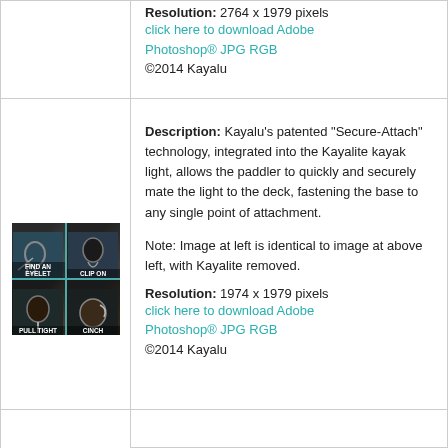Resolution: 2764 x 1979 pixels
click here to download Adobe Photoshop® JPG RGB
©2014 Kayalu
[Figure (photo): Four-panel instructional image showing Kayalu Secure-Attach steps: Find an Eyelet, Clip On, Pull Tight, Cinch]
Description: Kayalu's patented "Secure-Attach" technology, integrated into the Kayalite kayak light, allows the paddler to quickly and securely mate the light to the deck, fastening the base to any single point of attachment.

Note: Image at left is identical to image at above left, with Kayalite removed.

Resolution: 1974 x 1979 pixels
click here to download Adobe Photoshop® JPG RGB
©2014 Kayalu